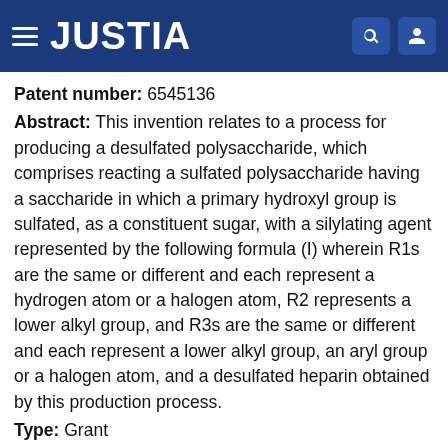JUSTIA
Patent number: 6545136
Abstract: This invention relates to a process for producing a desulfated polysaccharide, which comprises reacting a sulfated polysaccharide having a saccharide in which a primary hydroxyl group is sulfated, as a constituent sugar, with a silylating agent represented by the following formula (I) wherein R1s are the same or different and each represent a hydrogen atom or a halogen atom, R2 represents a lower alkyl group, and R3s are the same or different and each represent a lower alkyl group, an aryl group or a halogen atom, and a desulfated heparin obtained by this production process.
Type: Grant
Filed: June 27, 2000
Date of Patent: April 8, 2003
Assignee: Seikagaku Corporation